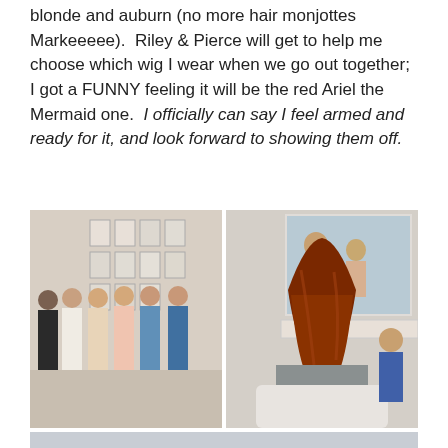blonde and auburn (no more hair monjottes Markeeeee).  Riley & Pierce will get to help me choose which wig I wear when we go out together; I got a FUNNY feeling it will be the red Ariel the Mermaid one.  I officially can say I feel armed and ready for it, and look forward to showing them off.
[Figure (photo): Left photo: group of six young women standing together in a room with framed black and white portrait photos on the wall behind them. Right photo: a person with long red/auburn hair sitting in a salon chair viewed from behind, with another person in a blue shirt nearby and a mirror reflection showing others in the background.]
[Figure (photo): Partial view of another photo at the bottom of the page, showing a light grey/blue toned image, mostly cropped out.]